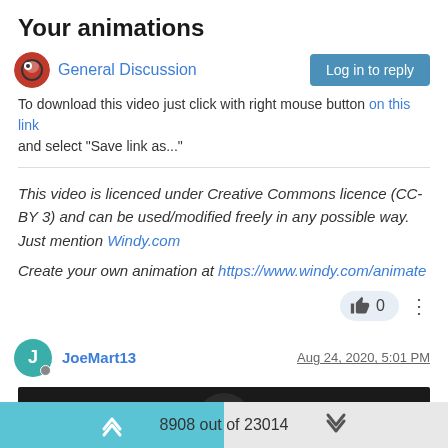Your animations
General Discussion
To download this video just click with right mouse button on this link and select "Save link as..."
This video is licenced under Creative Commons licence (CC-BY 3) and can be used/modified freely in any possible way. Just mention Windy.com
Create your own animation at https://www.windy.com/animate
👍 0
JoeMart13  Aug 24, 2020, 5:01 PM
[Figure (screenshot): Dark video thumbnail]
8908 out of 23014